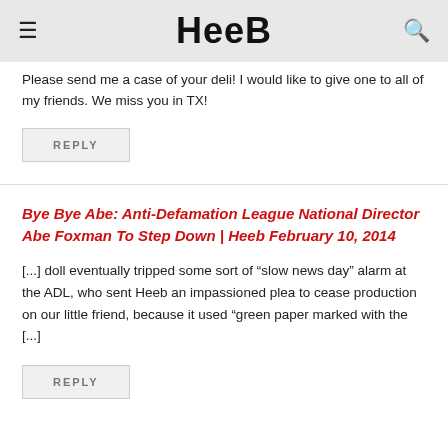Heeb
Please send me a case of your deli! I would like to give one to all of my friends. We miss you in TX!
REPLY
Bye Bye Abe: Anti-Defamation League National Director Abe Foxman To Step Down | Heeb February 10, 2014
[...] doll eventually tripped some sort of “slow news day” alarm at the ADL, who sent Heeb an impassioned plea to cease production on our little friend, because it used “green paper marked with the [...]
REPLY